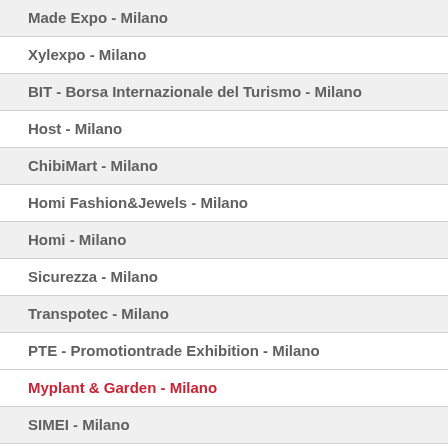Made Expo - Milano
Xylexpo - Milano
BIT - Borsa Internazionale del Turismo - Milano
Host - Milano
ChibiMart - Milano
Homi Fashion&Jewels - Milano
Homi - Milano
Sicurezza - Milano
Transpotec - Milano
PTE - Promotiontrade Exhibition - Milano
Myplant & Garden - Milano
SIMEI - Milano
Next Mobility Exhibition - Milano